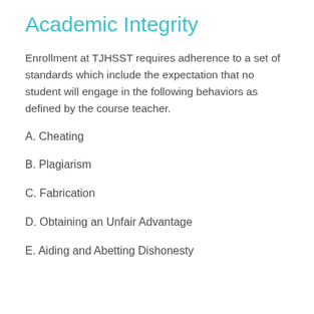Academic Integrity
Enrollment at TJHSST requires adherence to a set of standards which include the expectation that no student will engage in the following behaviors as defined by the course teacher.
A. Cheating
B. Plagiarism
C. Fabrication
D. Obtaining an Unfair Advantage
E. Aiding and Abetting Dishonesty